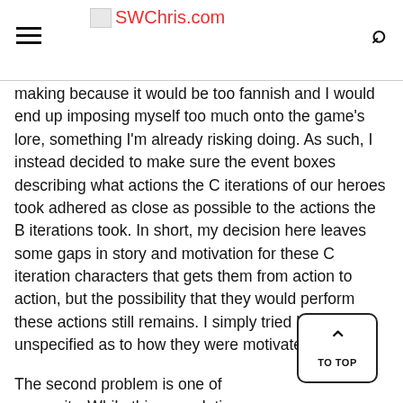SWChris.com
making because it would be too fannish and I would end up imposing myself too much onto the game's lore, something I'm already risking doing. As such, I instead decided to make sure the event boxes describing what actions the C iterations of our heroes took adhered as close as possible to the actions the B iterations took. In short, my decision here leaves some gaps in story and motivation for these C iteration characters that gets them from action to action, but the possibility that they would perform these actions still remains. I simply tried leave it unspecified as to how they were motivated to do so.
The second problem is one of necessity. While this speculation may seem too “out there” at first blush, seem to be where the breadcrumb trail leads. Like J. Tolkien, we theorists must take the information we have